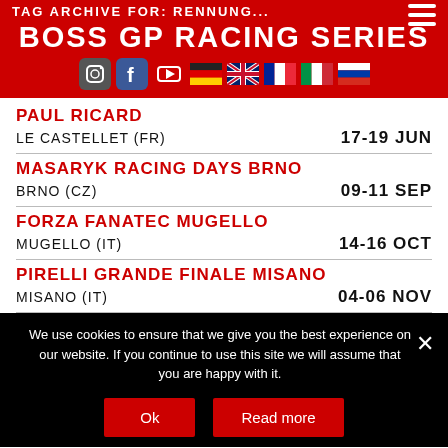BOSS GP RACING SERIES
PAUL RICARD — LE CASTELLET (FR) — 17-19 JUN
MASARYK RACING DAYS BRNO — BRNO (CZ) — 09-11 SEP
FORZA FANATEC MUGELLO — MUGELLO (IT) — 14-16 OCT
PIRELLI GRANDE FINALE MISANO — MISANO (IT) — 04-06 NOV
We use cookies to ensure that we give you the best experience on our website. If you continue to use this site we will assume that you are happy with it.